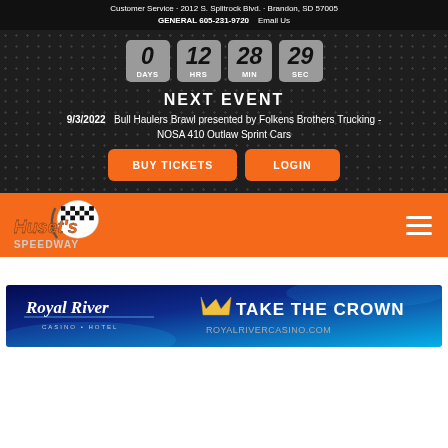Customer Service · 2012 S. Splitrock Blvd. · Brandon, SD 57005
GENERAL 605-231-9720   Email Us
0 DAYS  12 HRS  28 MIN  29 SEC
NEXT EVENT
9/3/2022   Bull Haulers Brawl presented by Folkens Brothers Trucking - NOSA 410 Outlaw Sprint Cars
BUY TICKETS   LOGIN
[Figure (logo): Huset's Speedway logo with checkered flag and orange/grey text on orange navigation bar with hamburger menu]
[Figure (illustration): Royal River Casino & Hotel banner advertisement - Take The Crown - royalrivercasino.com - blue gradient background with crown icon]